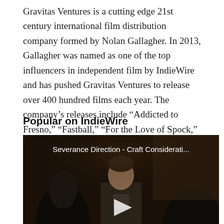Gravitas Ventures is a cutting edge 21st century international film distribution company formed by Nolan Gallagher. In 2013, Gallagher was named as one of the top influencers in independent film by IndieWire and has pushed Gravitas Ventures to release over 400 hundred films each year. The company's releases include “Addicted to Fresno,” “Fastball,” “For the Love of Spock,” and “The Atoning.”
Popular on IndieWire
[Figure (screenshot): Video thumbnail for 'Severance Direction - Craft Considerati...' showing a dark cinematic scene with a man in a suit, with a play button overlay]